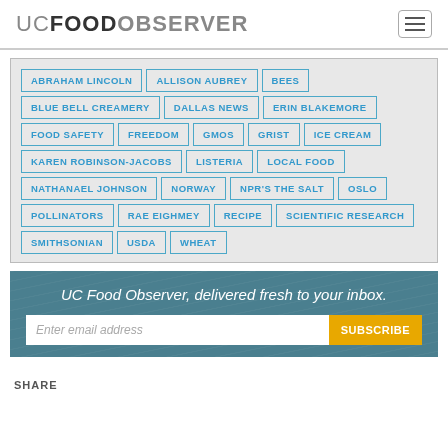UC FOOD OBSERVER
ABRAHAM LINCOLN
ALLISON AUBREY
BEES
BLUE BELL CREAMERY
DALLAS NEWS
ERIN BLAKEMORE
FOOD SAFETY
FREEDOM
GMOS
GRIST
ICE CREAM
KAREN ROBINSON-JACOBS
LISTERIA
LOCAL FOOD
NATHANAEL JOHNSON
NORWAY
NPR'S THE SALT
OSLO
POLLINATORS
RAE EIGHMEY
RECIPE
SCIENTIFIC RESEARCH
SMITHSONIAN
USDA
WHEAT
UC Food Observer, delivered fresh to your inbox.
SHARE